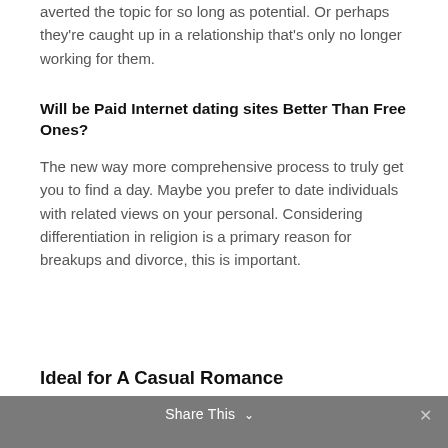averted the topic for so long as potential. Or perhaps they're caught up in a relationship that's only no longer working for them.
Will be Paid Internet dating sites Better Than Free Ones?
The new way more comprehensive process to truly get you to find a day. Maybe you prefer to date individuals with related views on your personal. Considering differentiation in religion is a primary reason for breakups and divorce, this is important.
Share This ∨  ✕
Ideal for A Casual Romance